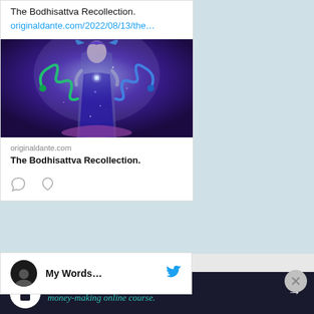The Bodhisattva Recollection.
originaldante.com/2022/08/13/the…
[Figure (illustration): Fantasy/spiritual illustration of a robed figure with cosmic/galactic dress, surrounded by blue and purple serpentine creatures, glowing orb in hands, blue/purple/green color palette]
originaldante.com
The Bodhisattva Recollection.
[Figure (other): Comment icon and heart/like icon action buttons]
My Words…
Advertisements
[Figure (infographic): Dark banner advertisement: 'Turn your blog into a money-making online course.' with an arrow icon and teaching/bookmark logo]